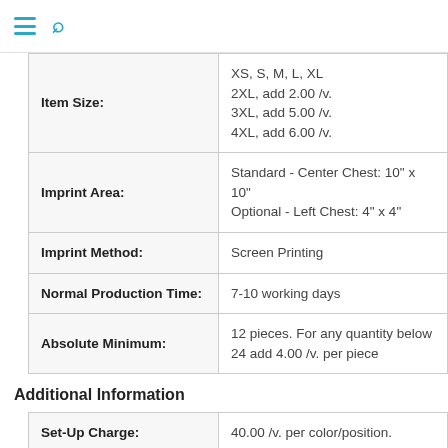≡ 🔍
| Item Size: | XS, S, M, L, XL
2XL, add 2.00 /v.
3XL, add 5.00 /v.
4XL, add 6.00 /v. |
| Imprint Area: | Standard - Center Chest: 10" x 10"
Optional - Left Chest: 4" x 4" |
| Imprint Method: | Screen Printing |
| Normal Production Time: | 7-10 working days |
| Absolute Minimum: | 12 pieces. For any quantity below 24 add 4.00 /v. per piece |
Additional Information
| Set-Up Charge: | 40.00 /v. per color/position. |